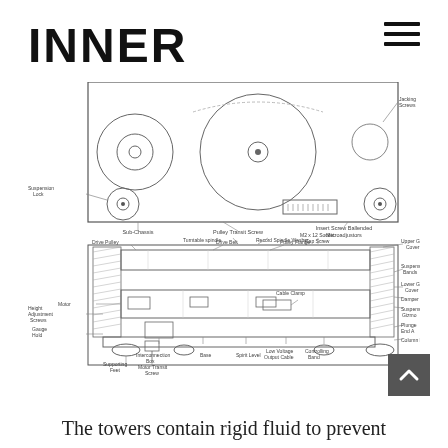INNER
[Figure (engineering-diagram): Technical engineering diagram of a turntable/record player mechanism shown in two views: top view showing pulleys, circular platter, and suspension locks; side/cross-section view showing drive belt, motor, pulley flange, suspension bands, gallery covers, cable clamp, interconnection box, supporting feet, motor transit screw, spirit level, low voltage output cable, controlling band, and column base. Multiple labeled components with leader lines.]
The towers contain rigid fluid to prevent